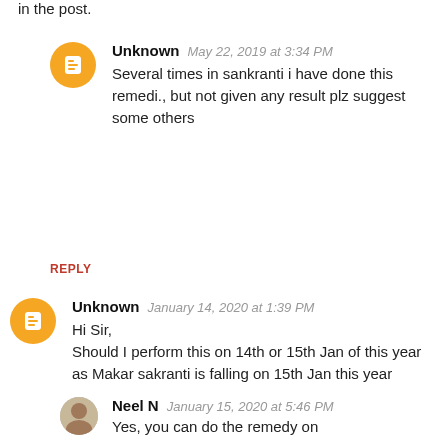in the post.
Unknown  May 22, 2019 at 3:34 PM
Several times in sankranti i have done this remedi., but not given any result plz suggest some others
REPLY
Unknown  January 14, 2020 at 1:39 PM
Hi Sir,
Should I perform this on 14th or 15th Jan of this year as Makar sakranti is falling on 15th Jan this year
Neel N  January 15, 2020 at 5:46 PM
Yes, you can do the remedy on